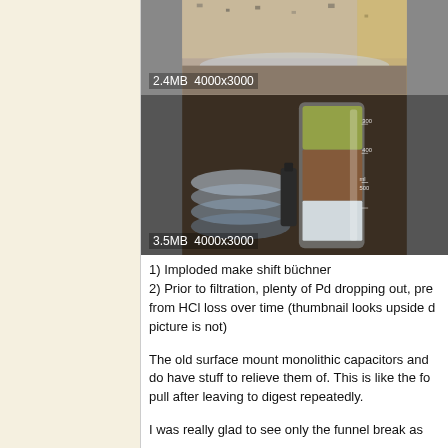[Figure (photo): Top portion of a container with brownish/grayish substance, partially visible. Image metadata overlay shows 2.4MB 4000x3000.]
[Figure (photo): A graduated cylinder (500ml) containing layered sediment - yellowish-green on top, brownish-red in middle, white precipitate at bottom. Stacked petri dishes visible to the left. Image metadata overlay shows 3.5MB 4000x3000.]
1) Imploded make shift büchner
2) Prior to filtration, plenty of Pd dropping out, pre from HCl loss over time (thumbnail looks upside d picture is not)
The old surface mount monolithic capacitors and do have stuff to relieve them of. This is like the fo pull after leaving to digest repeatedly.
I was really glad to see only the funnel break as